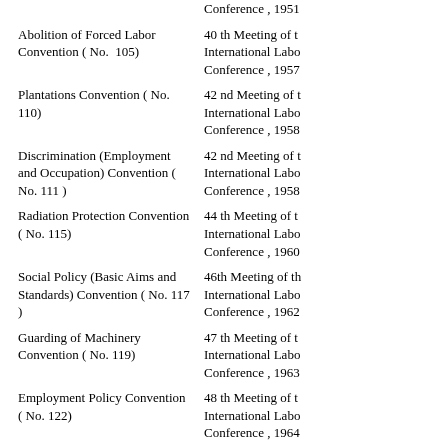Conference , 1951
Abolition of Forced Labor Convention ( No.  105)
40 th Meeting of the International Labour Conference , 1957
Plantations Convention ( No. 110)
42 nd Meeting of the International Labour Conference , 1958
Discrimination (Employment and Occupation) Convention ( No. 111 )
42 nd Meeting of the International Labour Conference , 1958
Radiation Protection Convention ( No. 115)
44 th Meeting of the International Labour Conference , 1960
Social Policy (Basic Aims and Standards) Convention ( No. 117 )
46th Meeting of the International Labour Conference , 1962
Guarding of Machinery Convention ( No. 119)
47 th Meeting of the International Labour Conference , 1963
Employment Policy Convention ( No. 122)
48 th Meeting of the International Labour Conference , 1964
Maximum Weight Convention ( No. 127)
51 st Meeting of the International Labour Conference , 1967